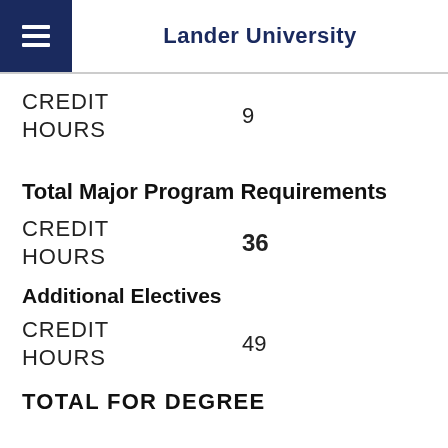Lander University
CREDIT HOURS  9
Total Major Program Requirements
CREDIT HOURS  36
Additional Electives
CREDIT HOURS  49
TOTAL FOR DEGREE